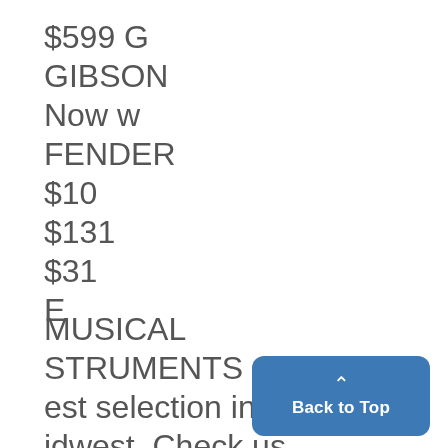$599 G
GIBSON
Now w
FENDER
$10
$131
$31
E
MUSICAL
STRUMENTS
est selection in the
idwest. Check us
out for the lowest
[Figure (other): Back to Top button with upward chevron arrow, blue rounded rectangle]